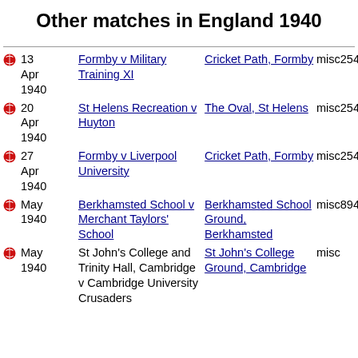Other matches in England 1940
13 Apr 1940 | Formby v Military Training XI | Cricket Path, Formby | misc25478
20 Apr 1940 | St Helens Recreation v Huyton | The Oval, St Helens | misc25478
27 Apr 1940 | Formby v Liverpool University | Cricket Path, Formby | misc25478
May 1940 | Berkhamsted School v Merchant Taylors' School | Berkhamsted School Ground, Berkhamsted | misc89483
May 1940 | St John's College and Trinity Hall, Cambridge v Cambridge University Crusaders | St John's College Ground, Cambridge | misc